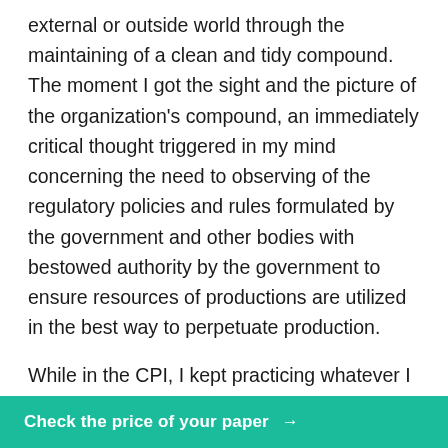external or outside world through the maintaining of a clean and tidy compound. The moment I got the sight and the picture of the organization's compound, an immediately critical thought triggered in my mind concerning the need to observing of the regulatory policies and rules formulated by the government and other bodies with bestowed authority by the government to ensure resources of productions are utilized in the best way to perpetuate production.
While in the CPI, I kept practicing whatever I had learned in my studies, and more especially I kept obeying and following instructions right from welcome session and through the orientation period until the end of presenting my final report project to [officer with other
Check the price of your paper →